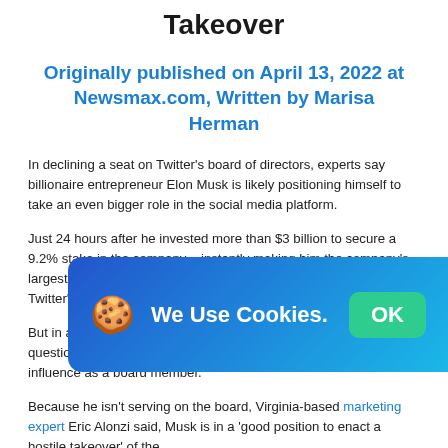Takeover
Originally published on April 13, 2022 at Newsmax.com, Written by Marisa Herman
In declining a seat on Twitter's board of directors, experts say billionaire entrepreneur Elon Musk is likely positioning himself to take an even bigger role in the social media platform.
Just 24 hours after he invested more than $3 billion to secure a 9.2% stake in the company – instantly making him the company's largest shareholder – it was announced that Musk would join Twitter's board of directors.
[Figure (other): Cookie consent banner with cookie emoji icon, text 'We Use Cookies.' and a green OK button, overlaid on the page content]
But in a shocking move, Musk apparently changed his mind and questions swirl over what the company might be if he isn't using his influence as a board member.
Because he isn't serving on the board, Virginia-based marketing expert Eric Alonzi said, Musk is in a 'good position to enact a hostile takeover' of the